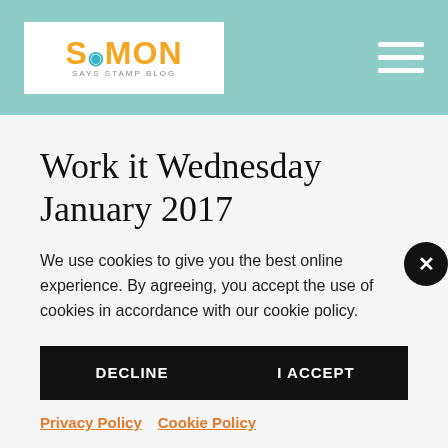Simon Says Stamp Blog
Work it Wednesday January 2017
We use cookies to give you the best online experience. By agreeing, you accept the use of cookies in accordance with our cookie policy.
DECLINE
I ACCEPT
Privacy Policy   Cookie Policy
Hi readers! Happy Wednesday! Welcome to Work It